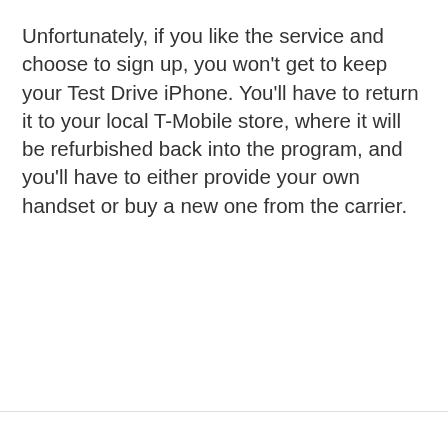Unfortunately, if you like the service and choose to sign up, you won't get to keep your Test Drive iPhone. You'll have to return it to your local T-Mobile store, where it will be refurbished back into the program, and you'll have to either provide your own handset or buy a new one from the carrier.